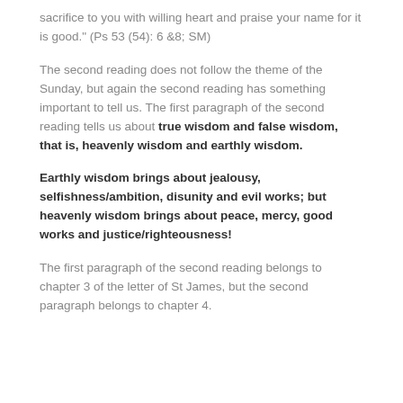sacrifice to you with willing heart and praise your name for it is good." (Ps 53 (54): 6 &8; SM)
The second reading does not follow the theme of the Sunday, but again the second reading has something important to tell us. The first paragraph of the second reading tells us about true wisdom and false wisdom, that is, heavenly wisdom and earthly wisdom.
Earthly wisdom brings about jealousy, selfishness/ambition, disunity and evil works; but heavenly wisdom brings about peace, mercy, good works and justice/righteousness!
The first paragraph of the second reading belongs to chapter 3 of the letter of St James, but the second paragraph belongs to chapter 4.